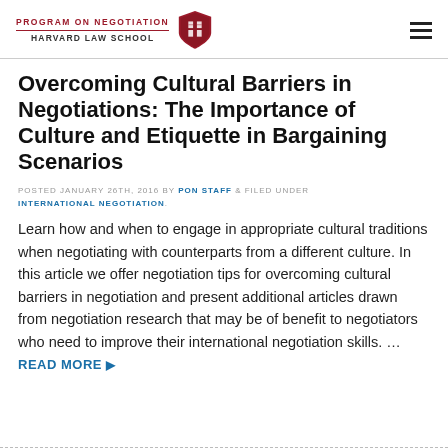PROGRAM ON NEGOTIATION HARVARD LAW SCHOOL
Overcoming Cultural Barriers in Negotiations: The Importance of Culture and Etiquette in Bargaining Scenarios
POSTED JANUARY 26TH, 2016 BY PON STAFF & FILED UNDER INTERNATIONAL NEGOTIATION.
Learn how and when to engage in appropriate cultural traditions when negotiating with counterparts from a different culture. In this article we offer negotiation tips for overcoming cultural barriers in negotiation and present additional articles drawn from negotiation research that may be of benefit to negotiators who need to improve their international negotiation skills. … READ MORE ▶